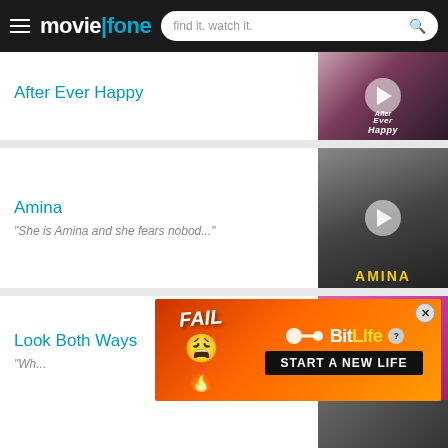moviefone — find it. watch it.
After Ever Happy
[Figure (screenshot): Movie thumbnail for 'After Ever Happy' showing a close-up of two people with a play button overlay and movie title text]
Amina
"She is Amina and she fears nobod..."
[Figure (screenshot): Movie thumbnail for 'Amina' showing a woman with braids, yellow AMINA title text at bottom, with play button overlay]
Look Both Ways
"Wh...
[Figure (screenshot): Movie thumbnail for 'Look Both Ways' with pink background, movie title text, and play button overlay]
[Figure (screenshot): BitLife advertisement banner — FAIL label with animated character, sperm icon, BitLife logo, START A NEW LIFE tagline, close button]
[Figure (screenshot): Partial fourth movie card with dark thumbnail visible]